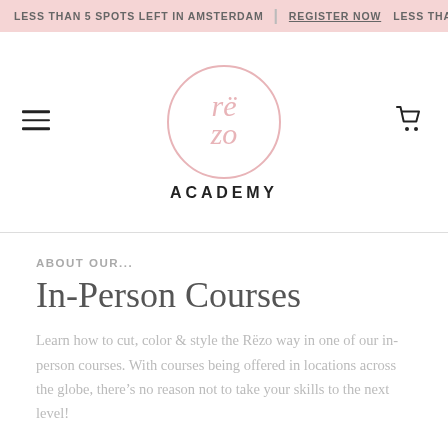LESS THAN 5 SPOTS LEFT IN AMSTERDAM | REGISTER NOW LESS THA
[Figure (logo): Rëzo Academy circular logo with pink text and circle border, with ACADEMY wordmark below]
ABOUT OUR...
In-Person Courses
Learn how to cut, color & style the Rëzo way in one of our in-person courses. With courses being offered in locations across the globe, there's no reason not to take your skills to the next level!